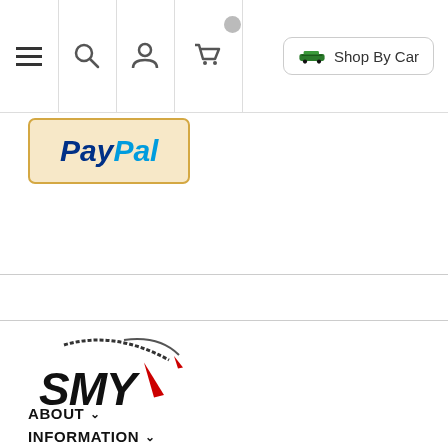Navigation bar with hamburger menu, search, account, cart icons and Shop By Car button
[Figure (logo): PayPal button with gold/beige background and blue PayPal wordmark]
[Figure (logo): SMY logo with swoosh graphic and bold italic text, red accent]
ABOUT ∨
INFORMATION ∨
KEY LINKS ∨
MY ACCOUNT ∨